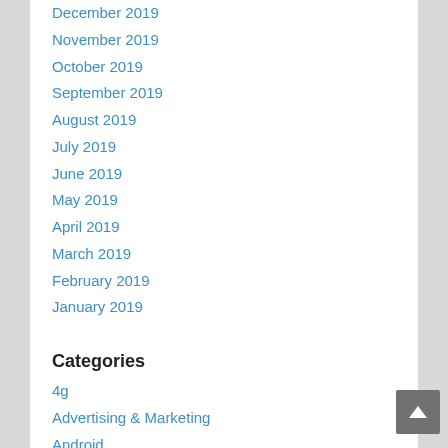December 2019
November 2019
October 2019
September 2019
August 2019
July 2019
June 2019
May 2019
April 2019
March 2019
February 2019
January 2019
Categories
4g
Advertising & Marketing
Android
Article About Technology
Arts & Entertainment
Auto & Motor